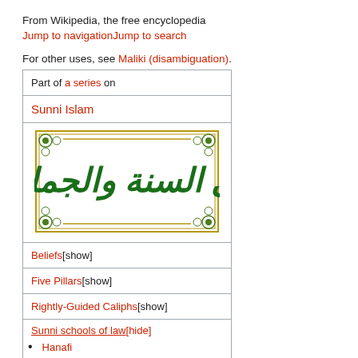From Wikipedia, the free encyclopedia
Jump to navigationJump to search
For other uses, see Maliki (disambiguation).
| Part of a series on |
| Sunni Islam |
| [image: Arabic calligraphy - Ahl al-Sunnah wal-Jama'ah] |
| Beliefs[show] |
| Five Pillars[show] |
| Rightly-Guided Caliphs[show] |
| Sunni schools of law[hide] | • Hanafi | • Maliki | • Shafi'i |